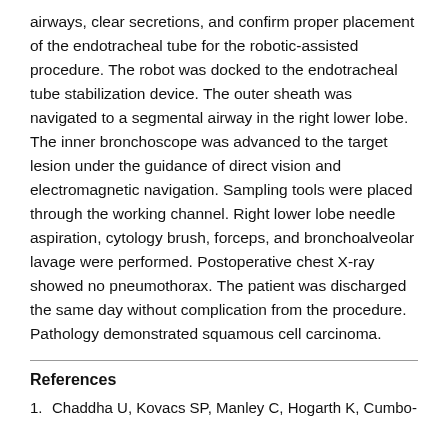airways, clear secretions, and confirm proper placement of the endotracheal tube for the robotic-assisted procedure. The robot was docked to the endotracheal tube stabilization device. The outer sheath was navigated to a segmental airway in the right lower lobe. The inner bronchoscope was advanced to the target lesion under the guidance of direct vision and electromagnetic navigation. Sampling tools were placed through the working channel. Right lower lobe needle aspiration, cytology brush, forceps, and bronchoalveolar lavage were performed. Postoperative chest X-ray showed no pneumothorax. The patient was discharged the same day without complication from the procedure. Pathology demonstrated squamous cell carcinoma.
References
1. Chaddha U, Kovacs SP, Manley C, Hogarth K, Cumbo-